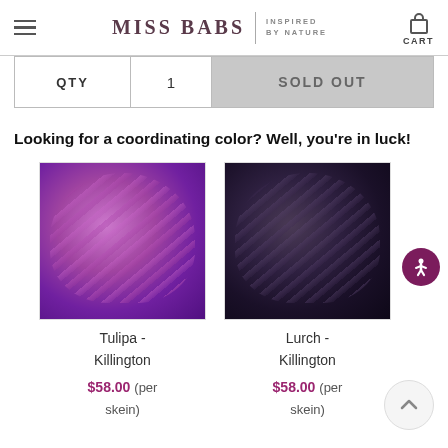MISS BABS | INSPIRED BY NATURE | CART
| QTY | 1 | SOLD OUT |
| --- | --- | --- |
Looking for a coordinating color? Well, you're in luck!
[Figure (photo): Purple yarn skein - Tulipa Killington]
Tulipa - Killington
$58.00 (per skein)
[Figure (photo): Dark charcoal/almost black yarn skein - Lurch Killington]
Lurch - Killington
$58.00 (per skein)